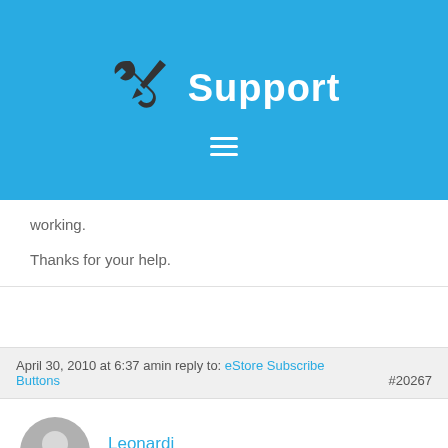Support
working.
Thanks for your help.
April 30, 2010 at 6:37 amin reply to: eStore Subscribe Buttons #20267
Leonardi
Member
Hi Amin – thanks for getting back to me – I've just tried deleting my record from the Customers and Members Database and then doing another test payment. The